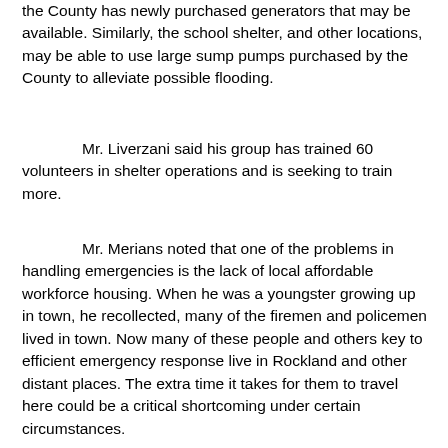the County has newly purchased generators that may be available. Similarly, the school shelter, and other locations, may be able to use large sump pumps purchased by the County to alleviate possible flooding.
Mr. Liverzani said his group has trained 60 volunteers in shelter operations and is seeking to train more.
Mr. Merians noted that one of the problems in handling emergencies is the lack of local affordable workforce housing. When he was a youngster growing up in town, he recollected, many of the firemen and policemen lived in town. Now many of these people and others key to efficient emergency response live in Rockland and other distant places. The extra time it takes for them to travel here could be a critical shortcoming under certain circumstances.